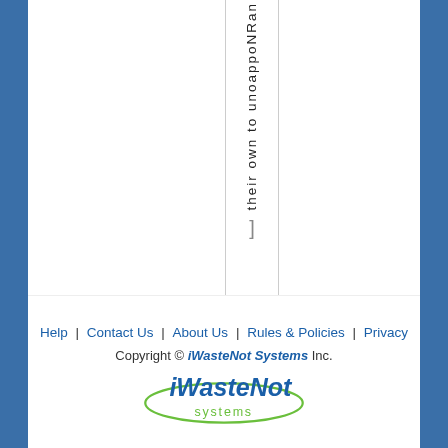their own to unoappoNRan
Help | Contact Us | About Us | Rules & Policies | Privacy
Copyright © iWasteNot Systems Inc.